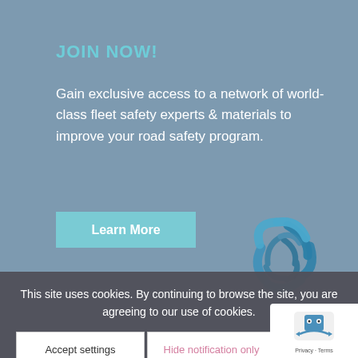JOIN NOW!
Gain exclusive access to a network of world-class fleet safety experts & materials to improve your road safety program.
Learn More
[Figure (logo): Hexagonal woven/interlocked pattern logo in teal/dark blue tones]
[Figure (other): Circular spinner/loading indicator, grey outline partial circle]
LEADERSHIP
Learn more about the companies that are leading their initiatives in road safety.
This site uses cookies. By continuing to browse the site, you are agreeing to our use of cookies.
Accept settings
Hide notification only
Setti
[Figure (logo): Google reCAPTCHA badge with robot icon and Privacy - Terms text]